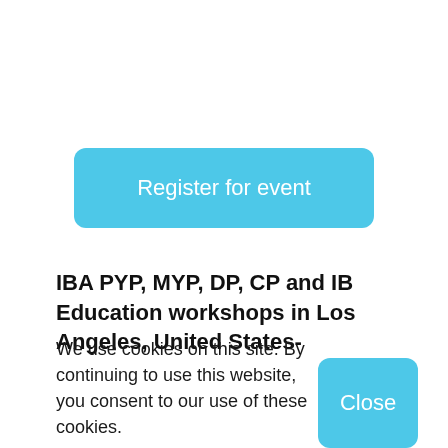Register for event
IBA PYP, MYP, DP, CP and IB Education workshops in Los Angeles, United States-
We use cookies on this site. By continuing to use this website, you consent to our use of these cookies. Read more about cookies
Close